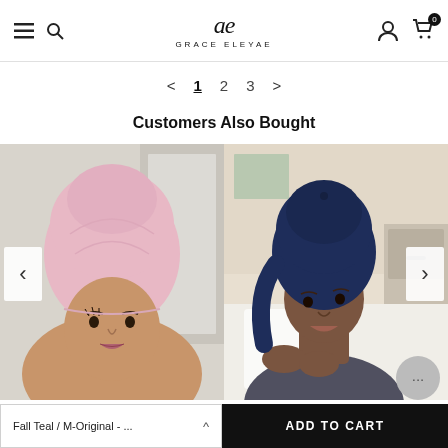Grace Eleyae
< 1 2 3 >
Customers Also Bought
[Figure (photo): Woman wearing a pink hair cap/bonnet with Grace Eleyae label]
[Figure (photo): Woman wearing a navy blue satin-lined cap, sitting in bed with white bedding]
Fall Teal / M-Original - ...
ADD TO CART